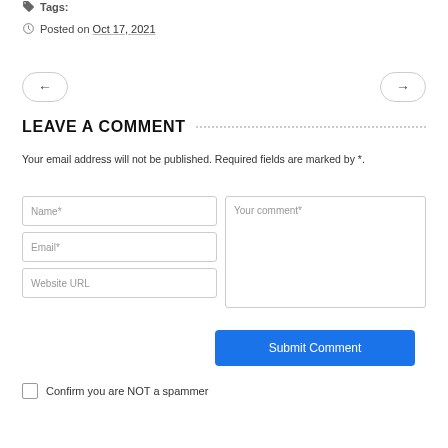Tags:
Posted on Oct 17, 2021
[Figure (other): Navigation buttons: left arrow and right arrow]
LEAVE A COMMENT
Your email address will not be published. Required fields are marked by *.
[Figure (other): Comment form with Name*, Email*, Website URL fields on the left, Your comment* textarea on the right, and a Submit Comment button]
Confirm you are NOT a spammer